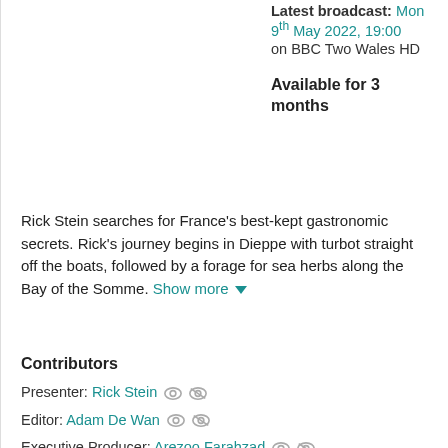Latest broadcast: Mon 9th May 2022, 19:00 on BBC Two Wales HD
Available for 3 months
Rick Stein searches for France's best-kept gastronomic secrets. Rick's journey begins in Dieppe with turbot straight off the boats, followed by a forage for sea herbs along the Bay of the Somme. Show more
Contributors
Presenter: Rick Stein
Editor: Adam De Wan
Executive Producer: Arezoo Farahzad
Music: Crocodile
Producer: David Pritchard
Production Manager: Olwyn Goldsmith